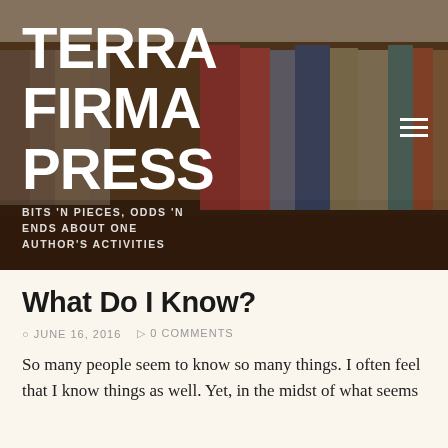[Figure (photo): Blurred bookshelf with books of various colors serving as background for Terra Firma Press blog header]
TERRA FIRMA PRESS
BITS 'N PIECES, ODDS 'N ENDS ABOUT ONE AUTHOR'S ACTIVITIES
What Do I Know?
JUNE 16, 2016   0 COMMENTS
So many people seem to know so many things. I often feel that I know things as well. Yet, in the midst of what seems